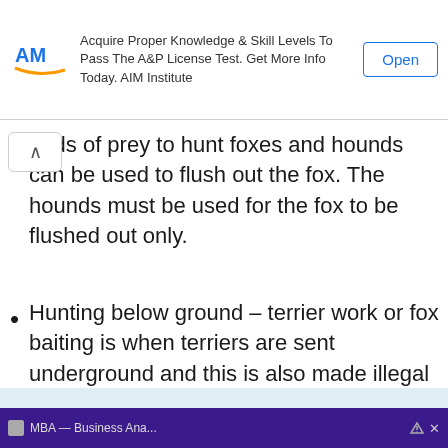[Figure (screenshot): AIM Institute advertisement banner with logo, text 'Acquire Proper Knowledge & Skill Levels To Pass The A&P License Test. Get More Info Today. AIM Institute' and an 'Open' button]
birds of prey to hunt foxes and hounds can be used to flush out the fox. The hounds must be used for the fox to be flushed out only.
Hunting below ground – terrier work or fox baiting is when terriers are sent underground and this is also made illegal
This website uses cookies to ensure you get the best experience on our website. Cookie Policy
Got it!
[Figure (screenshot): Bottom advertisement bar with purple background showing MBA or Business Analytics related content]